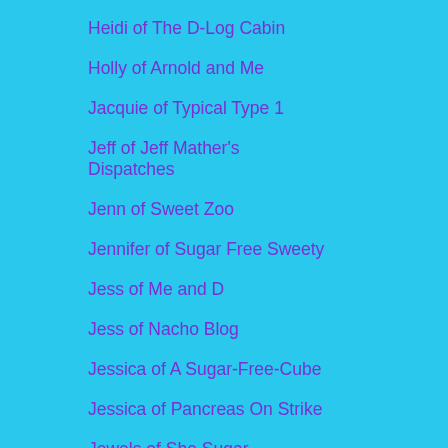Heidi of The D-Log Cabin
Holly of Arnold and Me
Jacquie of Typical Type 1
Jeff of Jeff Mather's Dispatches
Jenn of Sweet Zoo
Jennifer of Sugar Free Sweety
Jess of Me and D
Jess of Nacho Blog
Jessica of A Sugar-Free-Cube
Jessica of Pancreas On Strike
Jewels of She Sugar
Karen of Bittersweet Diabetes
Karen of Blah Blah Bklyn
Kari of Delightfully Diabetic